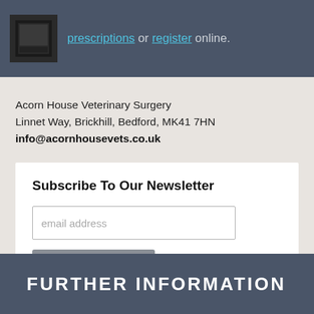[Figure (screenshot): Top dark bar with a small image thumbnail on left and partial text about prescriptions or register online with hyperlinks]
Acorn House Veterinary Surgery
Linnet Way, Brickhill, Bedford, MK41 7HN
info@acornhousevets.co.uk
Subscribe To Our Newsletter
email address
Subscribe
[Figure (logo): Instagram camera logo icon with rainbow colored viewfinder]
FURTHER INFORMATION